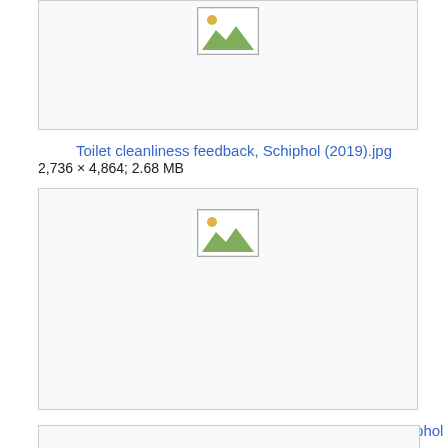[Figure (screenshot): Partial thumbnail image placeholder (broken image icon) for Toilet cleanliness feedback, Schiphol (2019).jpg]
Toilet cleanliness feedback, Schiphol (2019).jpg
2,736 × 4,864; 2.68 MB
[Figure (screenshot): Thumbnail image placeholder (broken image icon) for Training Speurhonden (Tracker Training) sign, Schiphol (...]
Training Speurhonden (Tracker Training) sign, Schiphol (...
2,736 × 4,864; 4.8 MB
[Figure (screenshot): Partial thumbnail box for next item (cut off at bottom of page)]